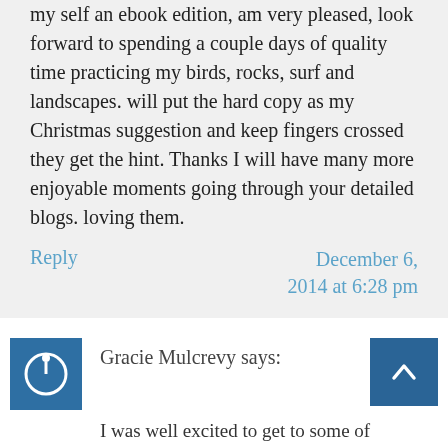my self an ebook edition, am very pleased, look forward to spending a couple days of quality time practicing my birds, rocks, surf and landscapes. will put the hard copy as my Christmas suggestion and keep fingers crossed they get the hint. Thanks I will have many more enjoyable moments going through your detailed blogs. loving them.
Reply
December 6, 2014 at 6:28 pm
Gracie Mulcrevy says:
I was well excited to get to some of